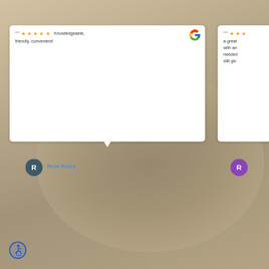[Figure (screenshot): Background photo of a person with an animal (appears to be a cat or dog), muted warm tones]
" ★★★★★ Knowledgeable, friendly, convenient!
Rose Risley
" ★★★ a great... with an... needed... still giv...
[Figure (logo): Google G logo in top right of review card]
[Figure (illustration): Accessibility wheelchair icon in blue circle at bottom left]